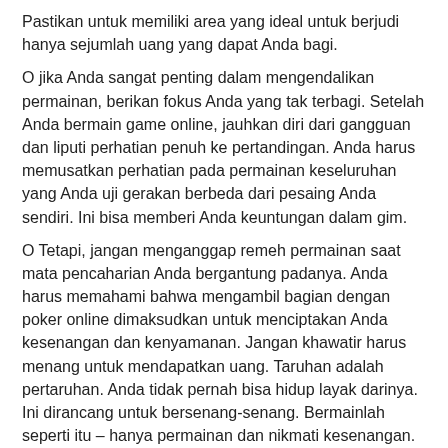Pastikan untuk memiliki area yang ideal untuk berjudi hanya sejumlah uang yang dapat Anda bagi.
O jika Anda sangat penting dalam mengendalikan permainan, berikan fokus Anda yang tak terbagi. Setelah Anda bermain game online, jauhkan diri dari gangguan dan liputi perhatian penuh ke pertandingan. Anda harus memusatkan perhatian pada permainan keseluruhan yang Anda uji gerakan berbeda dari pesaing Anda sendiri. Ini bisa memberi Anda keuntungan dalam gim.
O Tetapi, jangan menganggap remeh permainan saat mata pencaharian Anda bergantung padanya. Anda harus memahami bahwa mengambil bagian dengan poker online dimaksudkan untuk menciptakan Anda kesenangan dan kenyamanan. Jangan khawatir harus menang untuk mendapatkan uang. Taruhan adalah pertaruhan. Anda tidak pernah bisa hidup layak darinya. Ini dirancang untuk bersenang-senang. Bermainlah seperti itu – hanya permainan dan nikmati kesenangan.
O pastikan untuk melipat saat Anda harus. Berhentilah kehilangan lebih banyak uang ketika Anda sadar bahwa Anda harus melipat ke atas.
Kemungkinan besar, mungkin salah satu tips poker paling penting mutlak bagi pemula adalah dengan bermain poker di tangan Anda bisa menangani saja. Apa pun yang terlalu banyak ditangani harus dihindari. Tapi ini adalah kesalahan normal dari para pemula poker – bahwa mereka bermain seolah-olah mereka telah menjadi pro dari pertandingan